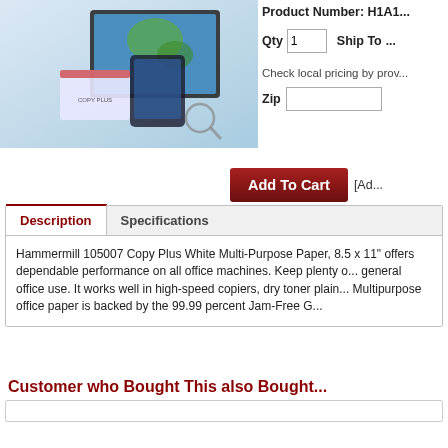[Figure (photo): Product image showing Hammermill Copy Plus paper ream with office items including laptop and tablet, partial view cropped at top]
Product Number: H1A1...
Qty 1   Ship To...
Check local pricing by prov...
Zip [input field]
Add To Cart  [Ad...
Description | Specifications
Hammermill 105007 Copy Plus White Multi-Purpose Paper, 8.5 x 11" offers dependable performance on all office machines. Keep plenty o... general office use. It works well in high-speed copiers, dry toner plain... Multipurpose office paper is backed by the 99.99 percent Jam-Free G...
Customer who Bought This also Bought...